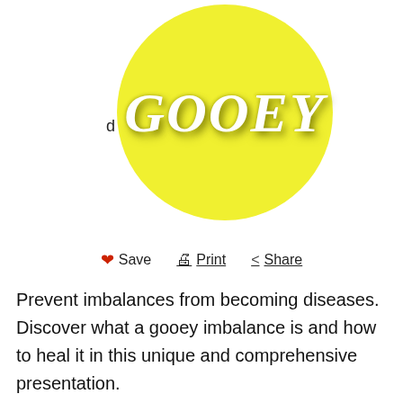[Figure (logo): Yellow circle with bold italic white text 'GOOEY' with drop shadow, with a small letter 'd' to the left of the circle]
Save  Print  Share
Prevent imbalances from becoming diseases. Discover what a gooey imbalance is and how to heal it in this unique and comprehensive presentation.